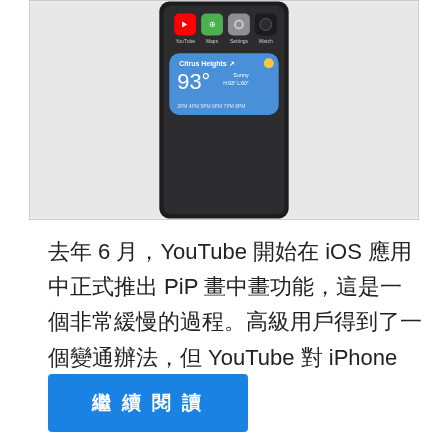[Figure (screenshot): iPhone screen showing app icons (YouTube, Maps, Settings, Watch) and a weather widget showing Citrus Heights, 93°, Sunny, H:93° L:60°]
去年 6 月，YouTube 開始在 iOS 應用中正式推出 PiP 畫中畫功能，這是一個非常緩慢的過程。高級用戶得到了一個變通辦法，但 YouTube 對 iPhone 和 iPad …
繼續閱讀